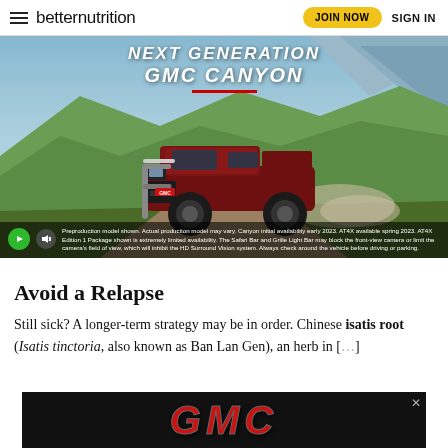betternutrition   JOIN NOW   SIGN IN
[Figure (photo): Advertisement for GMC Canyon pickup truck. Shows a dark red GMC Canyon AT4X truck driving on a dirt road with mountains and green hills in the background. Text overlay reads 'NEXT GENERATION GMC CANYON' with a red underline. Disclaimer text at bottom. Video play button and mute button visible.]
Avoid a Relapse
Still sick? A longer-term strategy may be in order. Chinese isatis root (Isatis tinctoria, also known as Ban Lan Gen), an herb in [text cut off by ad] ...bial [text cut off] ...ured pri[text cut off]
[Figure (logo): GMC logo in red italic letters on a black background, overlapping article text as an advertisement overlay with a close (X) button.]